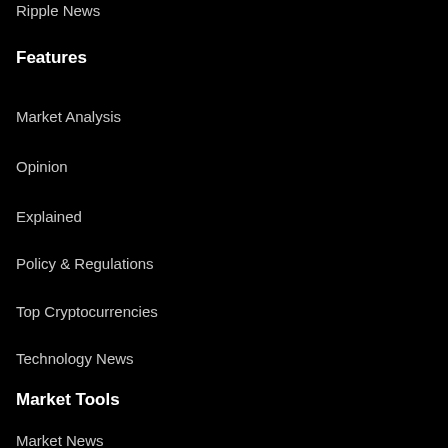Ripple News
Features
Market Analysis
Opinion
Explained
Policy & Regulations
Top Cryptocurrencies
Technology News
Market Tools
Market News